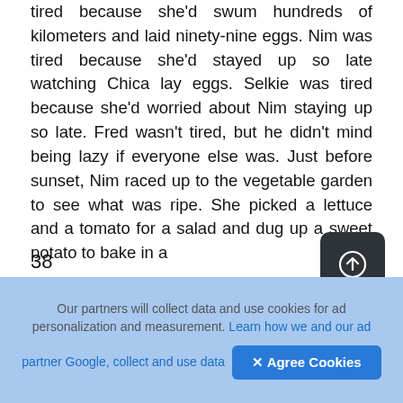tired because she'd swum hundreds of kilometers and laid ninety-nine eggs. Nim was tired because she'd stayed up so late watching Chica lay eggs. Selkie was tired because she'd worried about Nim staying up so late. Fred wasn't tired, but he didn't mind being lazy if everyone else was. Just before sunset, Nim raced up to the vegetable garden to see what was ripe. She picked a lettuce and a tomato for a salad and dug up a sweet potato to bake in a
38
celebration bonfire, with fresh limpets from the rocks and coconut for dessert. To:
Our partners will collect data and use cookies for ad personalization and measurement. Learn how we and our ad partner Google, collect and use data  ✗ Agree Cookies